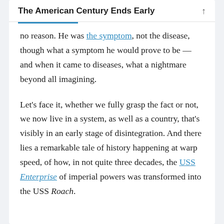The American Century Ends Early
no reason. He was the symptom, not the disease, though what a symptom he would prove to be — and when it came to diseases, what a nightmare beyond all imagining.
Let's face it, whether we fully grasp the fact or not, we now live in a system, as well as a country, that's visibly in an early stage of disintegration. And there lies a remarkable tale of history happening at warp speed, of how, in not quite three decades, the USS Enterprise of imperial powers was transformed into the USS Roach.